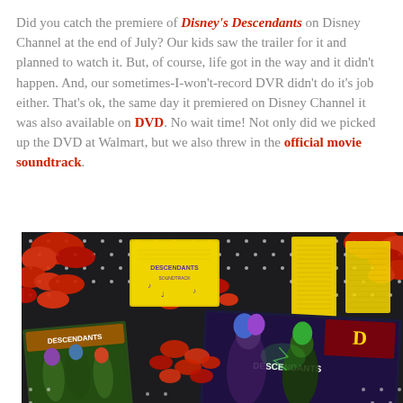Did you catch the premiere of Disney's Descendants on Disney Channel at the end of July? Our kids saw the trailer for it and planned to watch it. But, of course, life got in the way and it didn't happen. And, our sometimes-I-won't-record DVR didn't do it's job either. That's ok, the same day it premiered on Disney Channel it was also available on DVD. No wait time! Not only did we picked up the DVD at Walmart, but we also threw in the official movie soundtrack.
[Figure (photo): Photo of Disney's Descendants DVD cases and official movie soundtrack along with red popcorn on a black polka dot background]